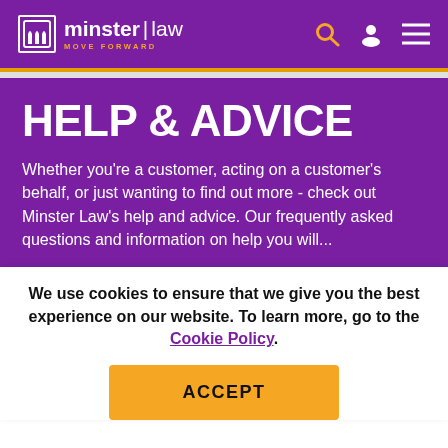minster law — MOVE FORWARD
HELP & ADVICE
Whether you're a customer, acting on a customer's behalf, or just wanting to find out more - check out Minster Law's help and advice. Our frequently asked questions and information on help you will...
We use cookies to ensure that we give you the best experience on our website. To learn more, go to the Cookie Policy.
ACCEPT